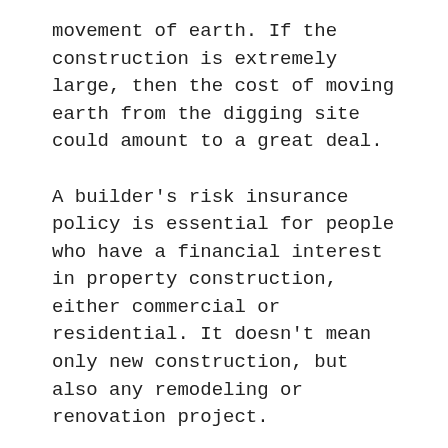movement of earth. If the construction is extremely large, then the cost of moving earth from the digging site could amount to a great deal.
A builder's risk insurance policy is essential for people who have a financial interest in property construction, either commercial or residential. It doesn't mean only new construction, but also any remodeling or renovation project.
If any damage to construction material occurs in transit or during storage, then this cost could also be covered under a builder's risk insurance policy.